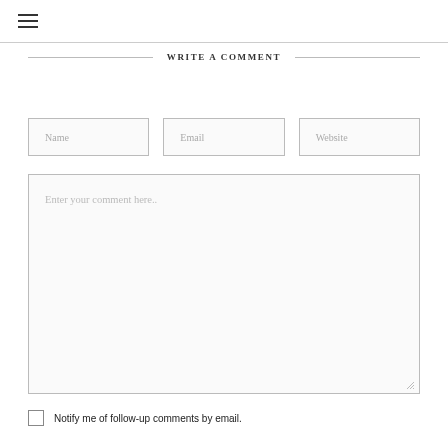≡
WRITE A COMMENT
Name
Email
Website
Enter your comment here..
Notify me of follow-up comments by email.